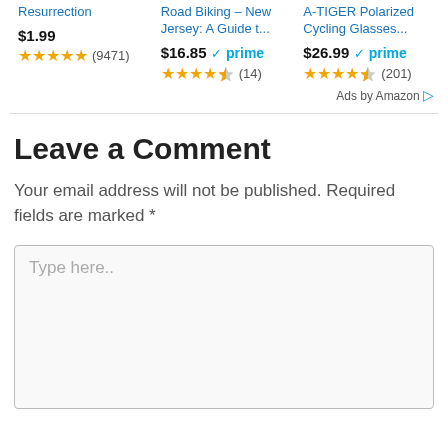[Figure (screenshot): Amazon ad row showing three products with prices, prime badges, star ratings and review counts]
Ads by Amazon
Leave a Comment
Your email address will not be published. Required fields are marked *
Type here..